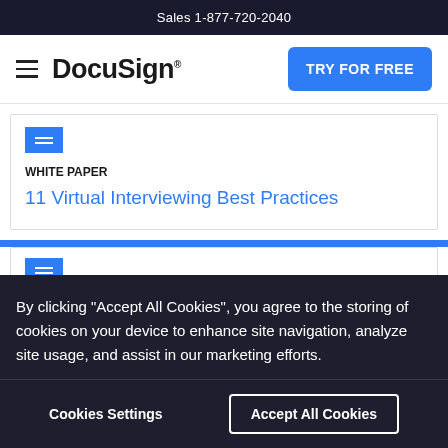Sales 1-877-720-2040
[Figure (logo): DocuSign logo with hamburger menu and TRY FOR FREE button]
WHITE PAPER
11 Virtual Interviewing Best Practices
By clicking “Accept All Cookies”, you agree to the storing of cookies on your device to enhance site navigation, analyze site usage, and assist in our marketing efforts.
Cookies Settings    Accept All Cookies